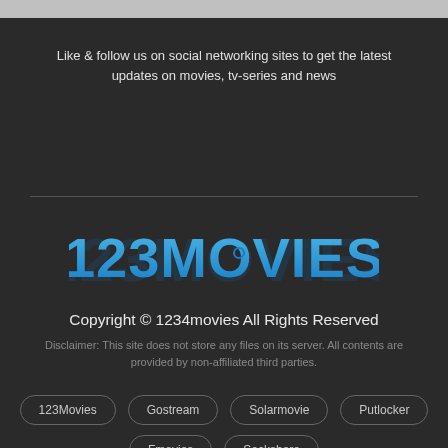Like & follow us on social networking sites to get the latest updates on movies, tv-series and news
[Figure (logo): 123MOVIES logo in blue gradient text on dark background]
Copyright © 1234movies All Rights Reserved
Disclaimer: This site does not store any files on its server. All contents are provided by non-affiliated third parties.
123Movies
Gostream
Solarmovie
Putlocker
Fmovies
Sockshare